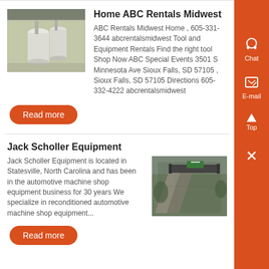Home ABC Rentals Midwest
ABC Rentals Midwest Home , 605-331-3644 abcrentalsmidwest Tool and Equipment Rentals Find the right tool Shop Now ABC Special Events 3501 S Minnesota Ave Sioux Falls, SD 57105 , Sioux Falls, SD 57105 Directions 605-332-4222 abcrentalsmidwest
[Figure (photo): Industrial warehouse interior with large white industrial equipment/cylinders]
Read more
Jack Scholler Equipment
Jack Scholler Equipment is located in Statesville, North Carolina and has been in the automotive machine shop equipment business for 30 years We specialize in reconditioned automotive machine shop equipment...
[Figure (photo): Outdoor industrial conveyor belt or equipment structure on a hillside]
Read more